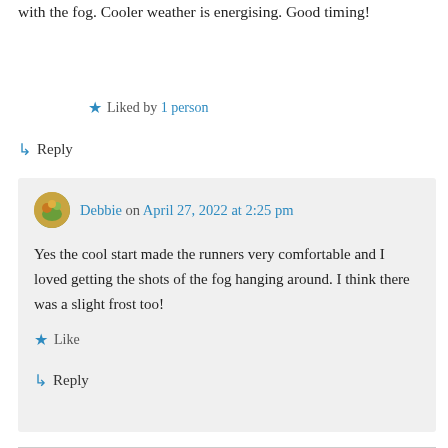with the fog. Cooler weather is energising. Good timing!
★ Liked by 1 person
↳ Reply
Debbie on April 27, 2022 at 2:25 pm
Yes the cool start made the runners very comfortable and I loved getting the shots of the fog hanging around. I think there was a slight frost too!
★ Like
↳ Reply